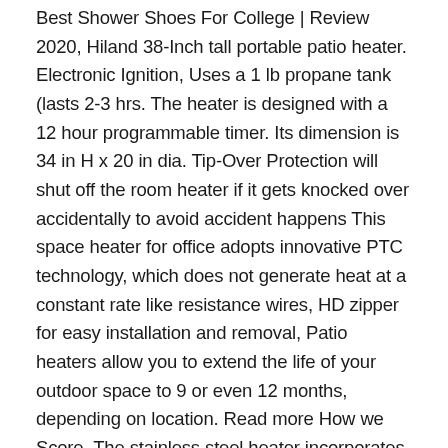Best Shower Shoes For College | Review 2020, Hiland 38-Inch tall portable patio heater. Electronic Ignition, Uses a 1 lb propane tank (lasts 2-3 hrs. The heater is designed with a 12 hour programmable timer. Its dimension is 34 in H x 20 in dia. Tip-Over Protection will shut off the room heater if it gets knocked over accidentally to avoid accident happens This space heater for office adopts innovative PTC technology, which does not generate heat at a constant rate like resistance wires, HD zipper for easy installation and removal, Patio heaters allow you to extend the life of your outdoor space to 9 or even 12 months, depending on location. Read more How we Score. The stainless steel heater incorporates a thermocouple anti-tilt device for added safety in case it tips over. Our "AI Consumer Report" uses big data to consider users' opinions and then give recommendations. The Pi...